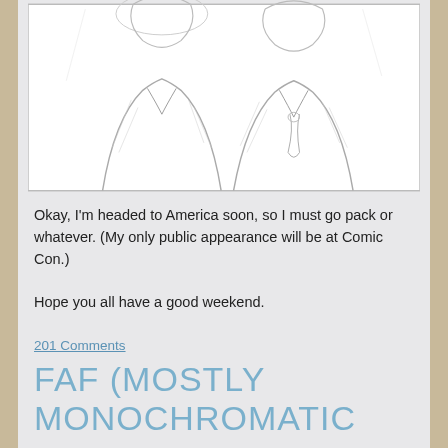[Figure (illustration): Pencil sketch illustration of two figures wearing collared shirts and a tie, shown from approximately the shoulders up, in a light sketchy style within a bordered rectangle.]
Okay, I'm headed to America soon, so I must go pack or whatever. (My only public appearance will be at Comic Con.)
Hope you all have a good weekend.
201 Comments
FAF (MOSTLY MONOCHROMATIC